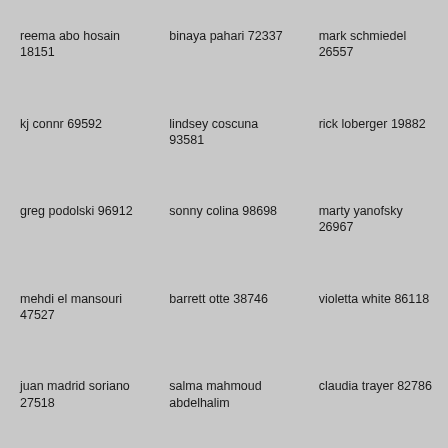reema abo hosain 18151
binaya pahari 72337
mark schmiedel 26557
kj connr 69592
lindsey coscuna 93581
rick loberger 19882
greg podolski 96912
sonny colina 98698
marty yanofsky 26967
mehdi el mansouri 47527
barrett otte 38746
violetta white 86118
juan madrid soriano 27518
salma mahmoud abdelhalim
claudia trayer 82786